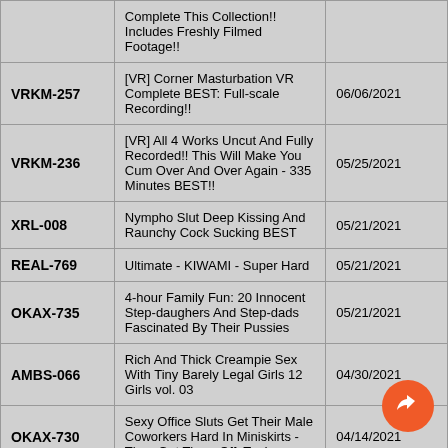| ID | Title | Date |
| --- | --- | --- |
|  | Complete This Collection!! Includes Freshly Filmed Footage!! |  |
| VRKM-257 | [VR] Corner Masturbation VR Complete BEST: Full-scale Recording!! | 06/06/2021 |
| VRKM-236 | [VR] All 4 Works Uncut And Fully Recorded!! This Will Make You Cum Over And Over Again - 335 Minutes BEST!! | 05/25/2021 |
| XRL-008 | Nympho Slut Deep Kissing And Raunchy Cock Sucking BEST | 05/21/2021 |
| REAL-769 | Ultimate - KIWAMI - Super Hard | 05/21/2021 |
| OKAX-735 | 4-hour Family Fun: 20 Innocent Step-daughers And Step-dads Fascinated By Their Pussies | 05/21/2021 |
| AMBS-066 | Rich And Thick Creampie Sex With Tiny Barely Legal Girls 12 Girls vol. 03 | 04/30/2021 |
| OKAX-730 | Sexy Office Sluts Get Their Male Coworkers Hard In Miniskirts - Then Get Them Off, Too! | 04/14/2021 |
| BTH-125 | A Cherry Boy Fan Thanksgiving Day Airi Natsume | 03/04/2021 |
| DOKS-536 | Long Sexy Tongue Blowjob Best Selection | 02/28/2021 |